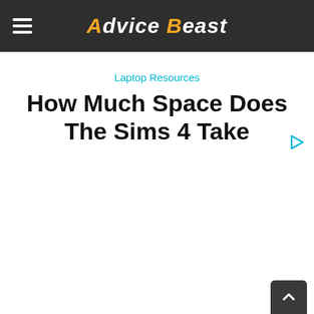Advice Beast
Laptop Resources
How Much Space Does The Sims 4 Take